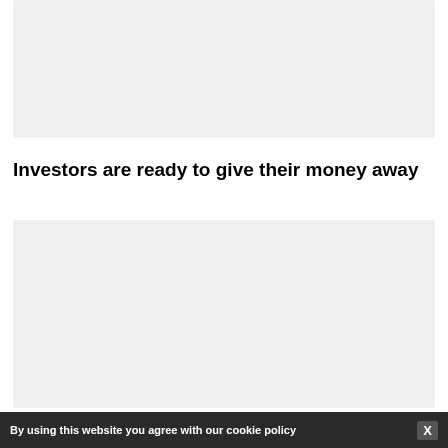[Figure (other): Gray placeholder image area at top of page]
Investors are ready to give their money away
[Figure (other): Gray placeholder image area below title]
By using this website you agree with our cookie policy X